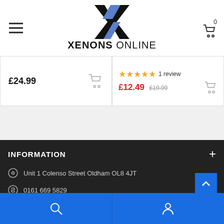XENONS ONLINE
£24.99
★★★★★ 1 review £12.49 £19.99
INFORMATION
Unit 1 Colenso Street Oldham OL8 4JT
0161 669 5829